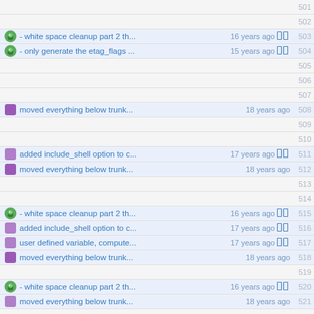501 (empty)
502 (empty)
503 - white space cleanup part 2 th... 16 years ago
504 - only generate the etag_flags ... 15 years ago
505 (empty)
506 (empty)
507 (empty)
508 moved everything below trunk... 18 years ago
509 (empty)
510 (empty)
511 added include_shell option to c... 17 years ago
512 moved everything below trunk... 18 years ago
513 (empty)
514 (empty)
515 - white space cleanup part 2 th... 16 years ago
516 added include_shell option to c... 17 years ago
517 user defined variable, compute... 17 years ago
518 moved everything below trunk... 18 years ago
519 (empty)
520 - white space cleanup part 2 th... 16 years ago
521 moved everything below trunk... 18 years ago